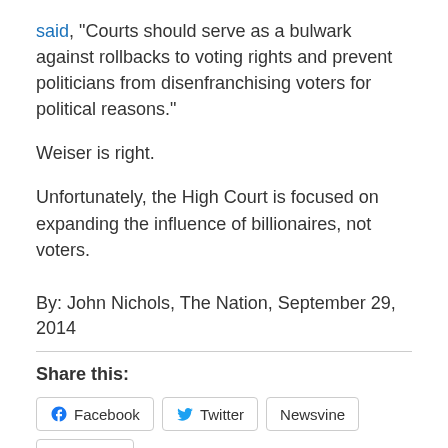said, "Courts should serve as a bulwark against rollbacks to voting rights and prevent politicians from disenfranchising voters for political reasons."
Weiser is right.
Unfortunately, the High Court is focused on expanding the influence of billionaires, not voters.
By: John Nichols, The Nation, September 29, 2014
Share this:
Facebook  Twitter  Newsvine  Pocket  Tumblr  Reddit  Pinterest  LinkedIn  Print